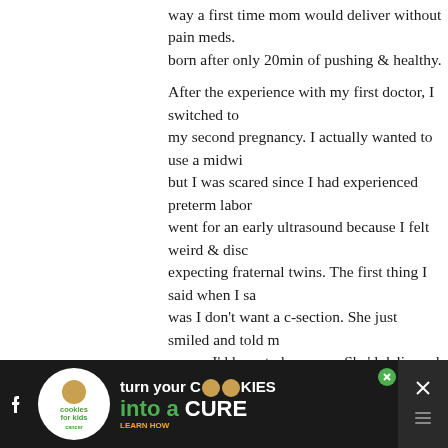way a first time mom would deliver without pain meds. born after only 20min of pushing & healthy.

After the experience with my first doctor, I switched to my second pregnancy. I actually wanted to use a midwife but I was scared since I had experienced preterm labor. went for an early ultrasound because I felt weird & discovered expecting fraternal twins. The first thing I said when I saw was I don't want a c-section. She just smiled and told me reason I'd have to have one. She'd delivered many twins just have to see how my pregnancy went. I spent 2 weeks bedrest at 32 weeks. Baby A was head down & baby B they were over 3lbs & baby b was smaller than A, I could birth. We talked risks & she told me that unless there's a problem, a c-section is always more dangerous for the m major surgery. There's also complications for the baby. S epidural in case the babies went into distress or baby b They were born, vaginally, at 36w5d. The epidural was since I couldn't feel to push.
[Figure (screenshot): Advertisement banner: 'turn your COOKIES into a CURE LEARN HOW' from cookies for kids cancer, with social media icons on sides]